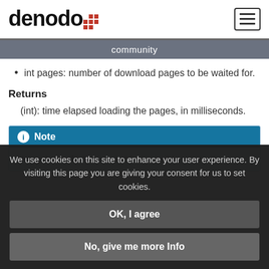denodo [logo] | hamburger menu
community
int pages: number of download pages to be waited for.
Returns
(int): time elapsed loading the pages, in milliseconds.
Note
Using the prefix "jsevaprint" it is possible to specify...
We use cookies on this site to enhance your user experience. By visiting this page you are giving your consent for us to set cookies.
OK, I agree
No, give me more Info